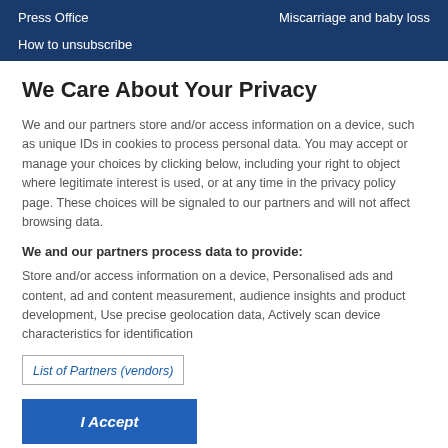Press Office    Miscarriage and baby loss
How to unsubscribe
We Care About Your Privacy
We and our partners store and/or access information on a device, such as unique IDs in cookies to process personal data. You may accept or manage your choices by clicking below, including your right to object where legitimate interest is used, or at any time in the privacy policy page. These choices will be signaled to our partners and will not affect browsing data.
We and our partners process data to provide:
Store and/or access information on a device, Personalised ads and content, ad and content measurement, audience insights and product development, Use precise geolocation data, Actively scan device characteristics for identification
List of Partners (vendors)
I Accept